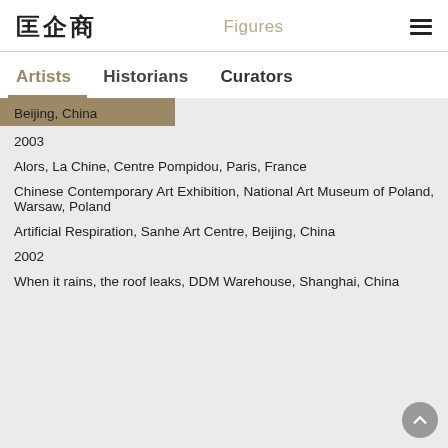Figures
Artists | Historians | Curators
Beijing, China
2003
Alors, La Chine, Centre Pompidou, Paris, France
Chinese Contemporary Art Exhibition, National Art Museum of Poland, Warsaw, Poland
Artificial Respiration, Sanhe Art Centre, Beijing, China
2002
When it rains, the roof leaks, DDM Warehouse, Shanghai, China